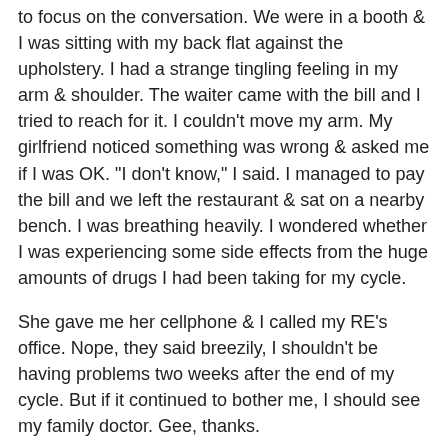to focus on the conversation. We were in a booth & I was sitting with my back flat against the upholstery. I had a strange tingling feeling in my arm & shoulder. The waiter came with the bill and I tried to reach for it. I couldn't move my arm. My girlfriend noticed something was wrong & asked me if I was OK. "I don't know," I said. I managed to pay the bill and we left the restaurant & sat on a nearby bench. I was breathing heavily. I wondered whether I was experiencing some side effects from the huge amounts of drugs I had been taking for my cycle.
She gave me her cellphone & I called my RE's office. Nope, they said breezily, I shouldn't be having problems two weeks after the end of my cycle. But if it continued to bother me, I should see my family doctor. Gee, thanks.
So I called dh. He was downstairs in about two minutes flat. My girlfriend hailed us a taxi and he gave them the address of our family dr of 16 years. Not sure why we didn't go to emergency at the local hospital, but I'm glad in retrospect we went to the dr. I was breathing heavily all the way in the taxi. Dh squeezed my hand reassuringly, but I honestly thought I